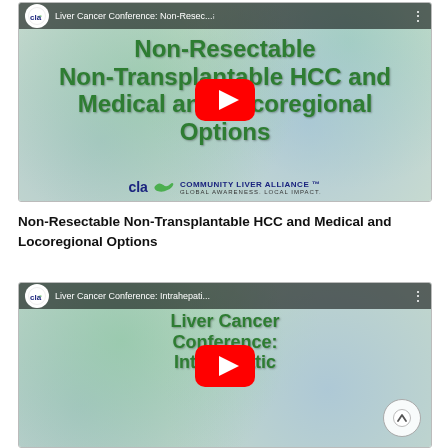[Figure (screenshot): YouTube video thumbnail for 'Liver Cancer Conference: Non-Resectable Non-Transplantable HCC and Medical and Locoregional Options' with CLA (Community Liver Alliance) logo, green bold title text on bubble background, and red YouTube play button.]
Non-Resectable Non-Transplantable HCC and Medical and Locoregional Options
[Figure (screenshot): YouTube video thumbnail for 'Liver Cancer Conference: Intrahepatic...' with CLA logo, green bold title text showing 'Liver Cancer Conference: Intrahepatic' on bubble background, red YouTube play button, and scroll-up arrow button.]